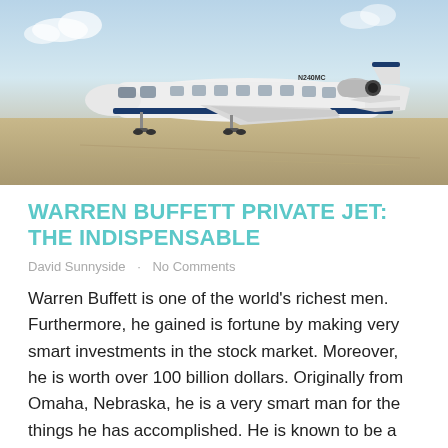[Figure (photo): A white private jet aircraft parked on a tarmac runway, with a clear sky in the background. The jet has a blue stripe along its fuselage and registration number N240MC visible on the tail.]
WARREN BUFFETT PRIVATE JET: THE INDISPENSABLE
David Sunnyside · No Comments
Warren Buffett is one of the world's richest men. Furthermore, he gained is fortune by making very smart investments in the stock market. Moreover, he is worth over 100 billion dollars. Originally from Omaha, Nebraska, he is a very smart man for the things he has accomplished. He is known to be a frugal guy [...]